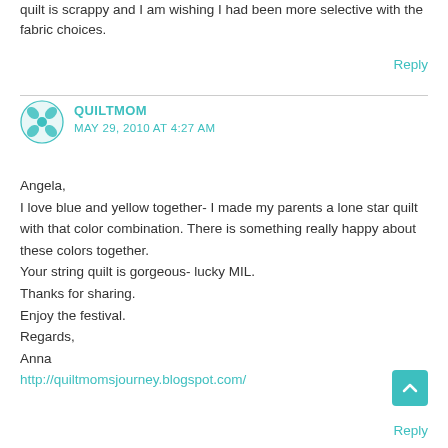quilt is scrappy and I am wishing I had been more selective with the fabric choices.
Reply
[Figure (illustration): Teal quilt/snowflake pattern avatar icon for user QUILTMOM]
QUILTMOM
MAY 29, 2010 AT 4:27 AM
Angela,
I love blue and yellow together- I made my parents a lone star quilt with that color combination. There is something really happy about these colors together.
Your string quilt is gorgeous- lucky MIL.
Thanks for sharing.
Enjoy the festival.
Regards,
Anna
http://quiltmomsjourney.blogspot.com/
Reply